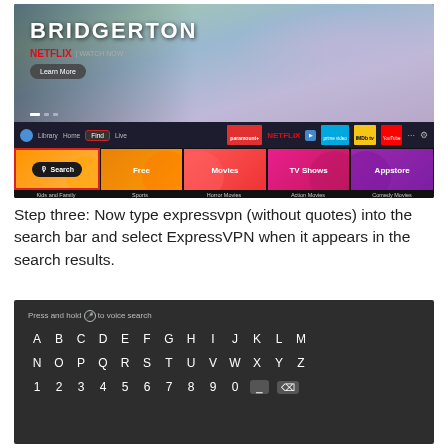[Figure (screenshot): Fire TV interface showing Bridgerton Netflix banner, navigation bar with Library/Home/Find/Live tabs and streaming service logos, and a grid of colored tiles: Search (orange, highlighted with red border), Free, Movies, TV Shows, Appstore, with category labels below: Kids and Family, Sports, Horror Movies, Action Movies, Comedy Movies]
Step three: Now type expressvpn (without quotes) into the search bar and select ExpressVPN when it appears in the search results.
[Figure (screenshot): Fire TV on-screen keyboard showing 'Press and hold (microphone) to voice search' hint, and alphabetical keyboard rows A-M, N-Z, and number row 1-9, 0 with space bar and delete key]